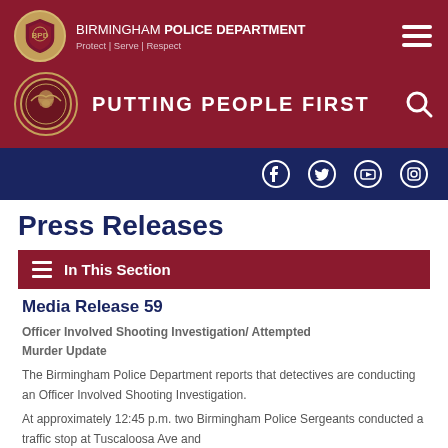[Figure (logo): Birmingham Police Department header with logo, department name, Putting People First tagline, hamburger menu, and search icon on dark red background]
BIRMINGHAM POLICE DEPARTMENT | Protect | Serve | Respect | PUTTING PEOPLE FIRST
[Figure (infographic): Navy blue navigation bar with Facebook, Twitter, YouTube, and Instagram social media icons]
Press Releases
In This Section
Media Release 59
Officer Involved Shooting Investigation/ Attempted Murder Update
The Birmingham Police Department reports that detectives are conducting an Officer Involved Shooting Investigation.
At approximately 12:45 p.m. two Birmingham Police Sergeants conducted a traffic stop at Tuscaloosa Ave and